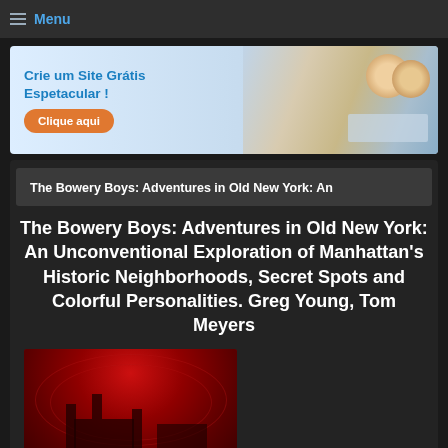Menu
[Figure (photo): Advertisement banner: Crie um Site Grátis Espetacular! with orange button 'Clique aqui' and photo of smiling couple with laptop]
The Bowery Boys: Adventures in Old New York: An
The Bowery Boys: Adventures in Old New York: An Unconventional Exploration of Manhattan's Historic Neighborhoods, Secret Spots and Colorful Personalities. Greg Young, Tom Meyers
[Figure (photo): Book cover image with red/dark background showing cathedral or city silhouette in red tones]